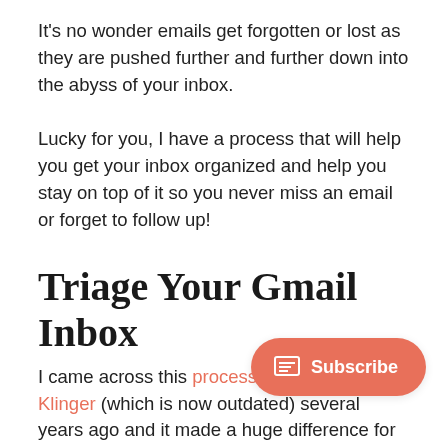It's no wonder emails get forgotten or lost as they are pushed further and further down into the abyss of your inbox.
Lucky for you, I have a process that will help you get your inbox organized and help you stay on top of it so you never miss an email or forget to follow up!
Triage Your Gmail Inbox
I came across this process by Andreas Klinger (which is now outdated) several years ago and it made a huge difference for my inbox management.
It's a way to use existing Gmail features (multiple